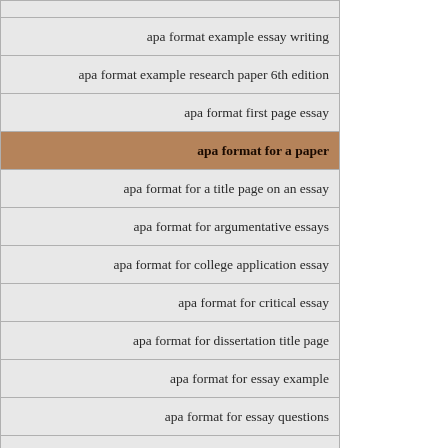apa format example essay writing
apa format example research paper 6th edition
apa format first page essay
apa format for a paper
apa format for a title page on an essay
apa format for argumentative essays
apa format for college application essay
apa format for critical essay
apa format for dissertation title page
apa format for essay example
apa format for essay questions
apa format for essays sample